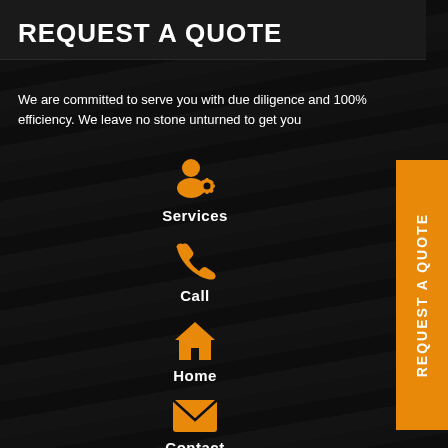REQUEST A QUOTE
We are committed to serve you with due diligence and 100% efficiency. We leave no stone unturned to get you
[Figure (infographic): Orange side tab with rotated text reading REQUEST A QUOTE on the right side of the page]
Services
Call
Home
Contact
WhatsApp